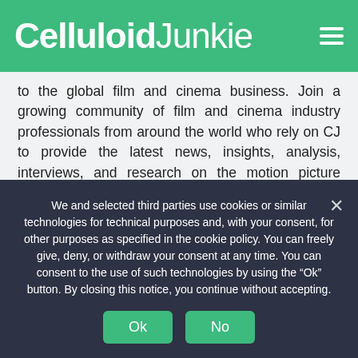Celluloid Junkie
to the global film and cinema business. Join a growing community of film and cinema industry professionals from around the world who rely on CJ to provide the latest news, insights, analysis, interviews, and research on the motion picture industry.
NEWS
WIRE
NEWSLETTERS
We and selected third parties use cookies or similar technologies for technical purposes and, with your consent, for other purposes as specified in the cookie policy. You can freely give, deny, or withdraw your consent at any time. You can consent to the use of such technologies by using the “Ok” button. By closing this notice, you continue without accepting.